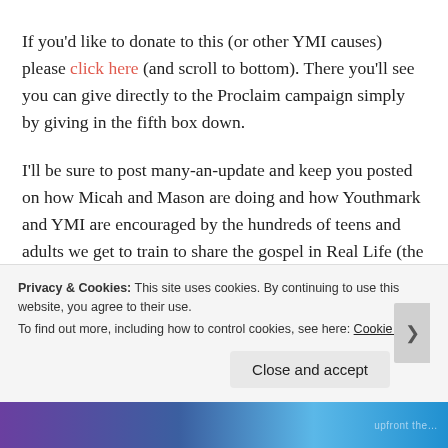If you'd like to donate to this (or other YMI causes) please click here (and scroll to bottom). There you'll see you can give directly to the Proclaim campaign simply by giving in the fifth box down.
I'll be sure to post many-an-update and keep you posted on how Micah and Mason are doing and how Youthmark and YMI are encouraged by the hundreds of teens and adults we get to train to share the gospel in Real Life (the theme for the Mission51 retreat).
Privacy & Cookies: This site uses cookies. By continuing to use this website, you agree to their use. To find out more, including how to control cookies, see here: Cookie Policy